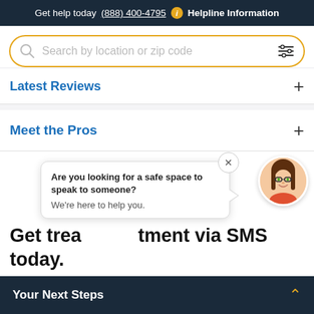Get help today (888) 400-4795 i Helpline Information
[Figure (screenshot): Search bar with orange border, magnifying glass icon, placeholder text 'Search by location or zip code', and filter/sliders icon on the right]
Latest Reviews
Meet the Pros
[Figure (illustration): Chat popup bubble with close X button: 'Are you looking for a safe space to speak to someone? We're here to help you.' with avatar of a cartoon woman with brown hair and glasses]
Get treatment via SMS today.
There is no obligation to enter treatment and you can
Your Next Steps